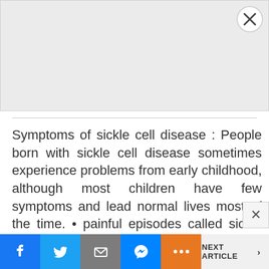[Figure (other): Gray advertisement placeholder area with a circular close button (X) in the top-right corner]
Symptoms of sickle cell disease : People born with sickle cell disease sometimes experience problems from early childhood, although most children have few symptoms and lead normal lives most of the time. • painful episodes called sickle cell crises, which can be very severe and can last up to a week • an increased risk of serious infections
Facebook | Twitter | Mail | Messenger | More ... | NEXT ARTICLE >